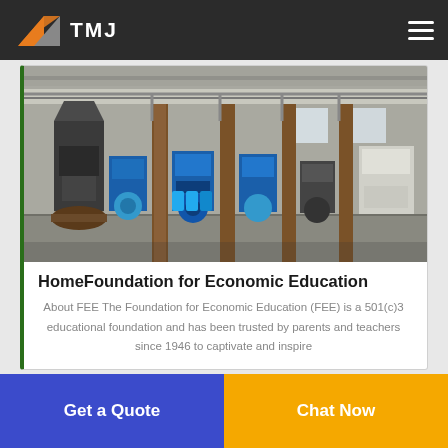TMJ
[Figure (photo): Industrial factory interior with large machinery, conveyor equipment, metal pillars, and workshop floor]
HomeFoundation for Economic Education
About FEE The Foundation for Economic Education (FEE) is a 501(c)3 educational foundation and has been trusted by parents and teachers since 1946 to captivate and inspire
Get a Quote
Chat Now